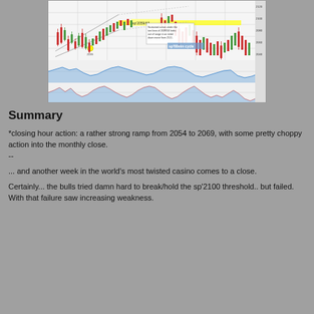[Figure (screenshot): Financial trading chart (sp'60min cycle) showing candlestick price chart with technical analysis overlays, including a yellow highlighted level near 2059/63, trendlines forming a wedge pattern, and annotation 'Sustained action under the two lows of 2039/50 looks out of range in an initial down move from 2111.' Below the main chart are two momentum/indicator panels showing oscillating blue area charts and a red line.]
Summary
*closing hour action: a rather strong ramp from 2054 to 2069, with some pretty choppy action into the monthly close.
--
... and another week in the world's most twisted casino comes to a close.
Certainly... the bulls tried damn hard to break/hold the sp'2100 threshold.. but failed. With that failure saw increasing weakness.